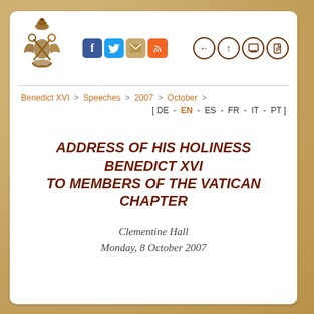[Figure (logo): Vatican coat of arms / papal keys emblem in gold/brown tones]
[Figure (infographic): Social media icons: Facebook (blue f), Twitter (blue bird), email (envelope), RSS (orange feed icon)]
[Figure (infographic): Navigation icons: back arrow circle, up arrow circle, print circle, PDF circle — all in dark brown outline]
Benedict XVI  >  Speeches  >  2007  >  October  >
[ DE - EN - ES - FR - IT - PT ]
ADDRESS OF HIS HOLINESS BENEDICT XVI TO MEMBERS OF THE VATICAN CHAPTER
Clementine Hall
Monday, 8 October 2007